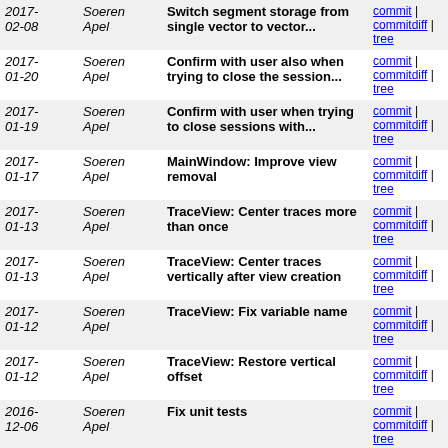| Date | Author | Message | Links |
| --- | --- | --- | --- |
| 2017-02-08 | Soeren Apel | Switch segment storage from single vector to vector... | commit | commitdiff | tree |
| 2017-01-20 | Soeren Apel | Confirm with user also when trying to close the session... | commit | commitdiff | tree |
| 2017-01-19 | Soeren Apel | Confirm with user when trying to close sessions with... | commit | commitdiff | tree |
| 2017-01-17 | Soeren Apel | MainWindow: Improve view removal | commit | commitdiff | tree |
| 2017-01-13 | Soeren Apel | TraceView: Center traces more than once | commit | commitdiff | tree |
| 2017-01-13 | Soeren Apel | TraceView: Center traces vertically after view creation | commit | commitdiff | tree |
| 2017-01-12 | Soeren Apel | TraceView: Fix variable name | commit | commitdiff | tree |
| 2017-01-12 | Soeren Apel | TraceView: Restore vertical offset | commit | commitdiff | tree |
| 2016-12-06 | Soeren Apel | Fix unit tests | commit | commitdiff | tree |
| 2016-12-04 | Soeren Apel | DecoderStack: Fix "data may be unitialized" error | commit | commitdiff | tree |
| 2016-12-04 | Soeren Apel | MainWindow: Fix "main_window may be uninitialized"... | commit | commitdiff | tree |
| 2016-12-04 | Soeren Apel | MainBar: Correct event handler name | commit | commitdiff | tree |
| 2016-12-04 | Soeren Apel | Fix "always zoom to fit" feature | commit | commitdiff | tree |
| 2016- | Soeren | Implement | commit | commitdiff |